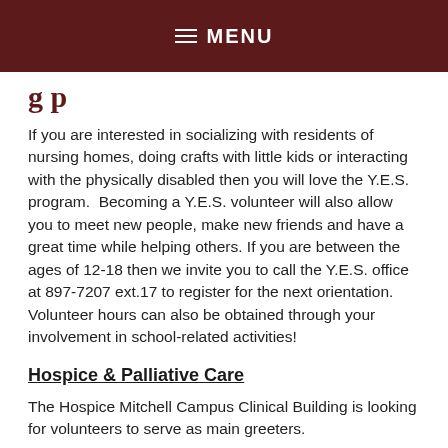MENU
If you are interested in socializing with residents of nursing homes, doing crafts with little kids or interacting with the physically disabled then you will love the Y.E.S. program.  Becoming a Y.E.S. volunteer will also allow you to meet new people, make new friends and have a great time while helping others. If you are between the ages of 12-18 then we invite you to call the Y.E.S. office at 897-7207 ext.17 to register for the next orientation. Volunteer hours can also be obtained through your involvement in school-related activities!
Hospice & Palliative Care
The Hospice Mitchell Campus Clinical Building is looking for volunteers to serve as main greeters.